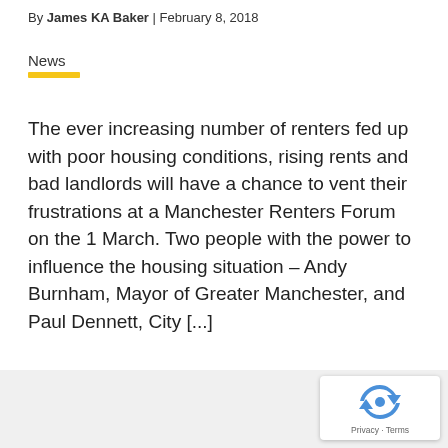By James KA Baker | February 8, 2018
News
The ever increasing number of renters fed up with poor housing conditions, rising rents and bad landlords will have a chance to vent their frustrations at a Manchester Renters Forum on the 1 March. Two people with the power to influence the housing situation – Andy Burnham, Mayor of Greater Manchester, and Paul Dennett, City [...]